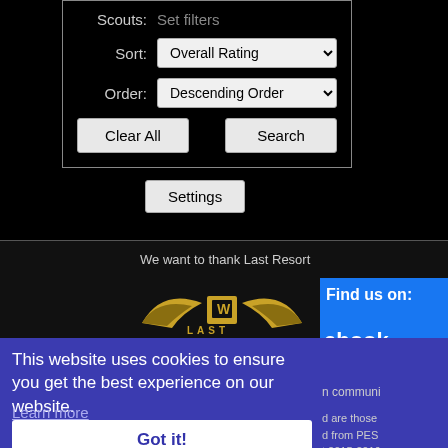Scouts:   Set filters
Sort: Overall Rating
Order: Descending Order
Clear All
Search
Settings
We want to thank Last Resort
[Figure (logo): Last Resort gaming logo - eagle/wings emblem in gold and black]
Find us on:
ebook
.com/LastResortGa
n communi
d are those
d from PES
t 2015-2016
Privacy Poli
This website uses cookies to ensure you get the best experience on our website.
Learn more
Got it!